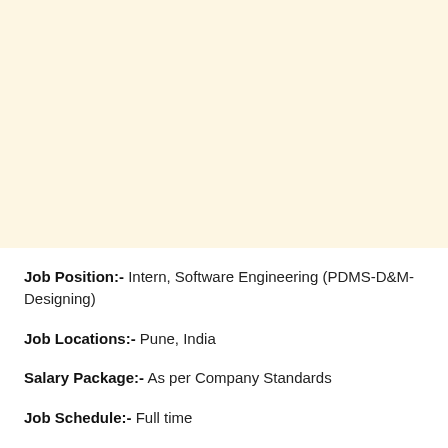[Figure (other): Blank cream/beige colored background section occupying the top portion of the page]
Job Position:- Intern, Software Engineering (PDMS-D&M-Designing)
Job Locations:- Pune, India
Salary Package:- As per Company Standards
Job Schedule:- Full time